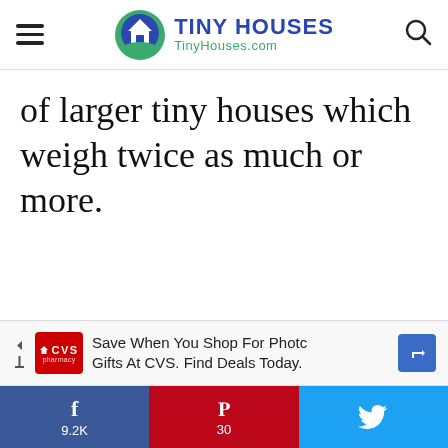TINY HOUSES TinyHouses.com
of larger tiny houses which weigh twice as much or more.
[Figure (other): Social engagement buttons: 11.8k likes count, heart/like button (white circle), and orange search button]
[Figure (other): CVS Pharmacy advertisement banner: Save When You Shop For Photo Gifts At CVS. Find Deals Today.]
f 9.2K  P 30  t